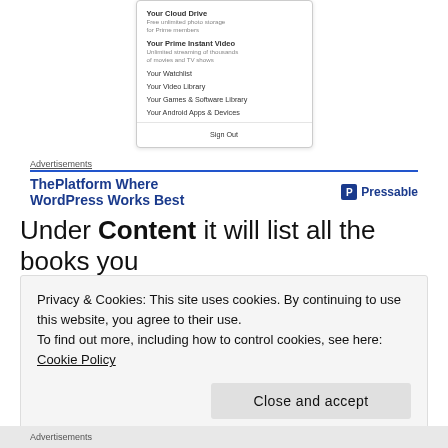[Figure (screenshot): Partial Amazon account dropdown menu showing: Your Cloud Drive (Free unlimited photo storage for Prime members), Your Prime Instant Video (Unlimited streaming of thousands of movies and TV shows), Your Watchlist, Your Video Library, Your Games & Software Library, Your Android Apps & Devices, Sign Out]
Advertisements
[Figure (screenshot): Advertisement banner showing 'ThePlatform Where WordPress Works Best' on the left and 'Pressable' logo on the right]
Under Content it will list all the books you
Privacy & Cookies: This site uses cookies. By continuing to use this website, you agree to their use.
To find out more, including how to control cookies, see here: Cookie Policy
Close and accept
Advertisements